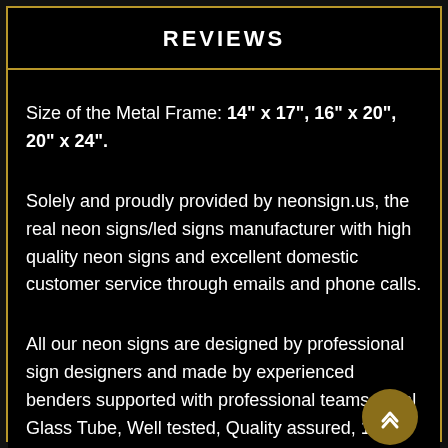REVIEWS
Size of the Metal Frame: 14" x 17", 16" x 20", 20" x 24".
Solely and proudly provided by neonsign.us, the real neon signs/led signs manufacturer with high quality neon signs and excellent domestic customer service through emails and phone calls.
All our neon signs are designed by professional sign designers and made by experienced benders supported with professional teams. Real Glass Tube, Well tested, Quality assured, 1-year